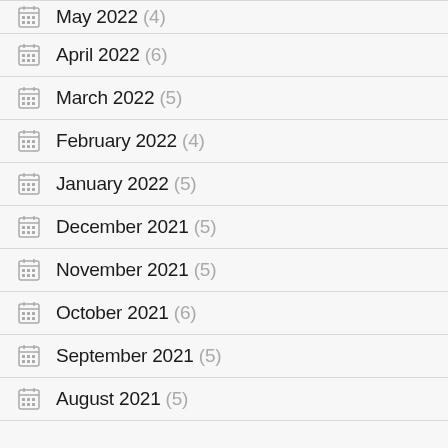May 2022 (4)
April 2022 (6)
March 2022 (5)
February 2022 (4)
January 2022 (5)
December 2021 (5)
November 2021 (5)
October 2021 (6)
September 2021 (5)
August 2021 (5)